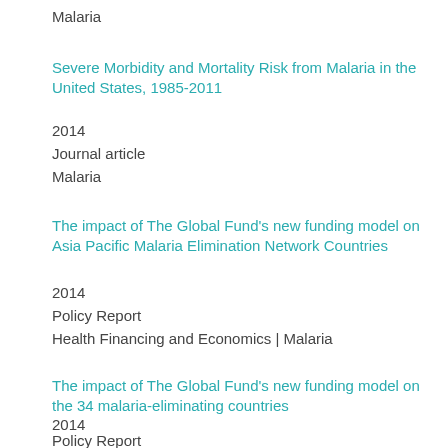Malaria
Severe Morbidity and Mortality Risk from Malaria in the United States, 1985-2011
2014
Journal article
Malaria
The impact of The Global Fund's new funding model on Asia Pacific Malaria Elimination Network Countries
2014
Policy Report
Health Financing and Economics | Malaria
The impact of The Global Fund's new funding model on the 34 malaria-eliminating countries
2014
Policy Report
Health Financing and Economics | Malaria